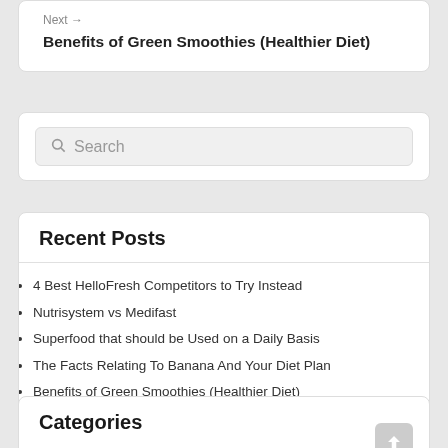Next →
Benefits of Green Smoothies (Healthier Diet)
Search
Recent Posts
4 Best HelloFresh Competitors to Try Instead
Nutrisystem vs Medifast
Superfood that should be Used on a Daily Basis
The Facts Relating To Banana And Your Diet Plan
Benefits of Green Smoothies (Healthier Diet)
Categories